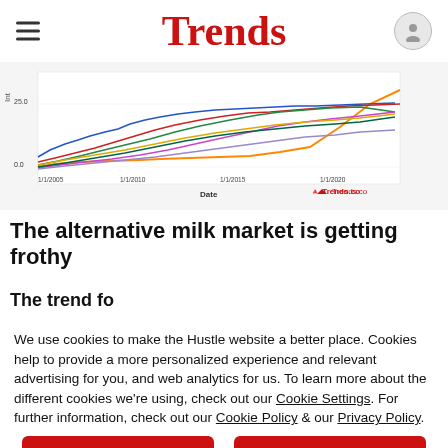Trends
[Figure (line-chart): Multi-line time series chart showing trends data from approximately 1/1/2005 to 1/1/2020, with y-axis label 'Int' and a value of 25.0 marked, multiple colored lines (blue, orange, red, green, magenta, purple, dark green), x-axis labeled 'Date', watermark 'Trends.co']
The alternative milk market is getting frothy
The trend fo...
We use cookies to make the Hustle website a better place. Cookies help to provide a more personalized experience and relevant advertising for you, and web analytics for us. To learn more about the different cookies we're using, check out our Cookie Settings. For further information, check out our Cookie Policy & our Privacy Policy.